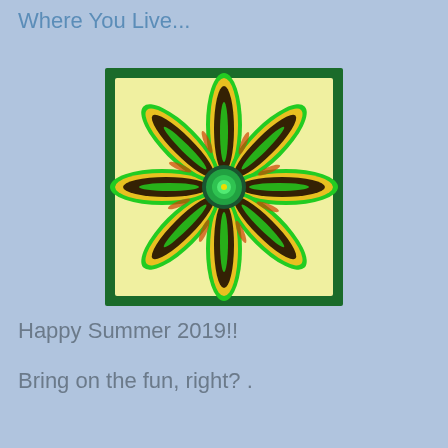Where You Live...
[Figure (illustration): A decorative fractal flower illustration with 8 petals outlined in yellow and green, featuring dark brown/black centers with colorful green, orange, and red fractal patterns inside each petal. The flower is set on a pale yellow background framed by a thick dark green border.]
Happy Summer 2019!!
Bring on the fun, right? .